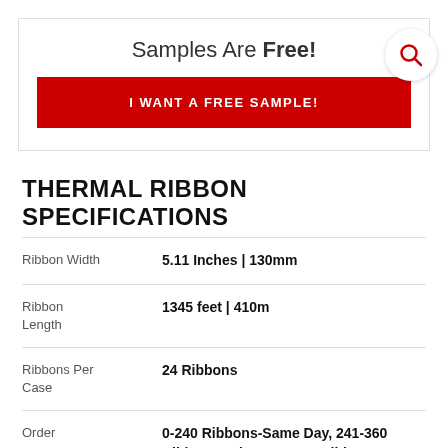Samples Are Free!
I WANT A FREE SAMPLE!
THERMAL RIBBON SPECIFICATIONS
| Specification | Value |
| --- | --- |
| Ribbon Width | 5.11 Inches | 130mm |
| Ribbon Length | 1345 feet | 410m |
| Ribbons Per Case | 24 Ribbons |
| Order | 0-240 Ribbons-Same Day, 241-360 Ribbons-1 day, 361-504 Ribbons-2 days, |